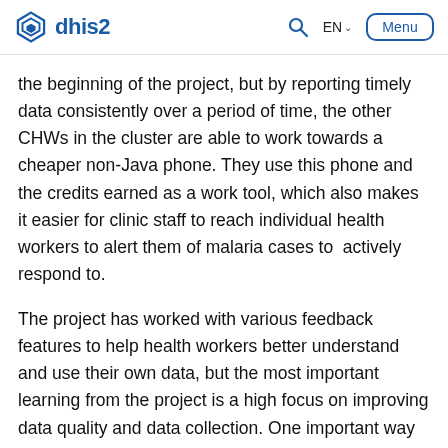dhis2  Q  EN  Menu
the beginning of the project, but by reporting timely data consistently over a period of time, the other CHWs in the cluster are able to work towards a cheaper non-Java phone. They use this phone and the credits earned as a work tool, which also makes it easier for clinic staff to reach individual health workers to alert them of malaria cases to  actively respond to.
The project has worked with various feedback features to help health workers better understand and use their own data, but the most important learning from the project is a high focus on improving data quality and data collection. One important way of providing